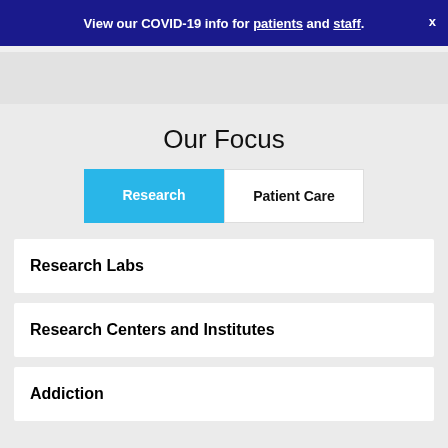View our COVID-19 info for patients and staff.
Our Focus
Research | Patient Care
Research Labs
Research Centers and Institutes
Addiction